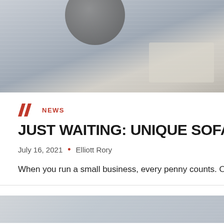[Figure (photo): Top banner photo showing a light grey textured surface (possibly concrete or stone), with a dark rounded object at top and a light beige card/book at bottom right.]
NEWS
JUST WAITING: UNIQUE SOFA SOLUTION
July 16, 2021  •  Elliott Rory
When you run a small business, every penny counts. On th
[Figure (photo): Bottom partial banner photo, light grey textured surface.]